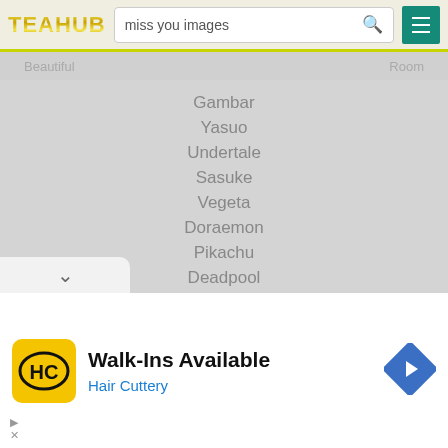TEAHUB - miss you images
Beautiful
Room
Gambar
Yasuo
Undertale
Sasuke
Vegeta
Doraemon
Pikachu
Deadpool
Reserved.
[Figure (other): Advertisement banner: Walk-Ins Available, Hair Cuttery with HC logo and navigation arrow icon]